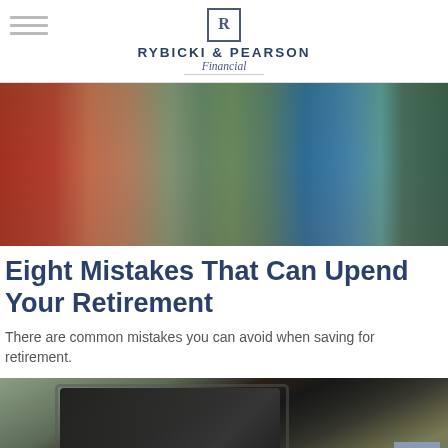RYBICKI & PEARSON Financial
[Figure (photo): Two people sitting outdoors on a wooden dock or deck, wearing hiking backpacks, facing each other and smiling. One wears a red jacket, the other a blue jacket. Green trees and a building visible in the background.]
Eight Mistakes That Can Upend Your Retirement
There are common mistakes you can avoid when saving for retirement.
[Figure (photo): Close-up of a tablet device resting in a bag or backpack, partially visible, with muted olive/grey tones.]